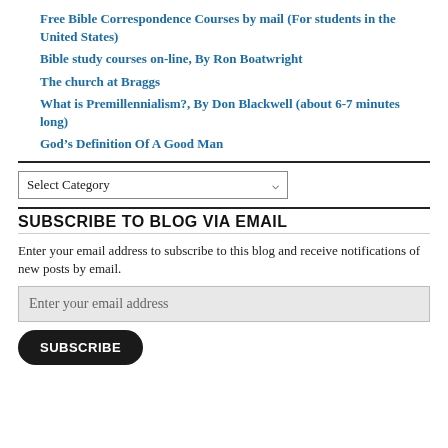Free Bible Correspondence Courses by mail (For students in the United States)
Bible study courses on-line, By Ron Boatwright
The church at Braggs
What is Premillennialism?, By Don Blackwell (about 6-7 minutes long)
God's Definition Of A Good Man
Select Category
SUBSCRIBE TO BLOG VIA EMAIL
Enter your email address to subscribe to this blog and receive notifications of new posts by email.
Enter your email address
SUBSCRIBE